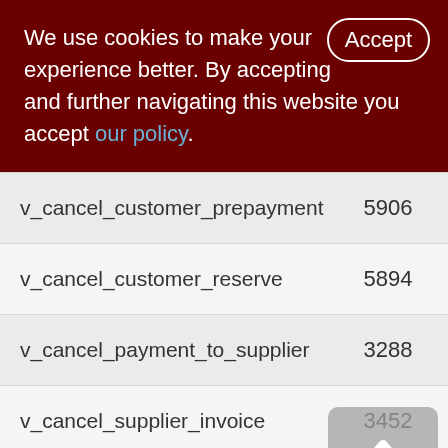We use cookies to make your experience better. By accepting and further navigating this website you accept our policy.
| Name | Col1 | Col2 |
| --- | --- | --- |
| v_cancel_customer_prepayment | 5906 | 58 |
| v_cancel_customer_reserve | 5894 | 57 |
| v_cancel_payment_to_supplier | 3288 | 32 |
| v_cancel_supplier_invoice | 3452 | 20 |
| v_cancel_supplier_order | 3406 | 12 |